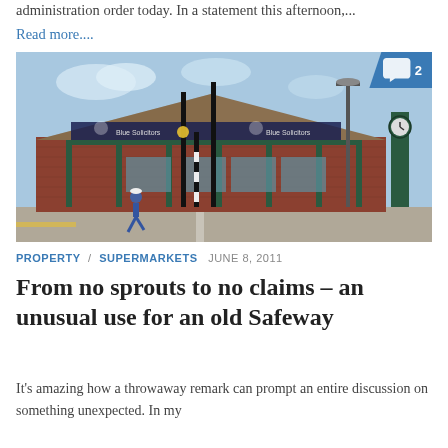administration order today. In a statement this afternoon,...
Read more....
[Figure (photo): Exterior of a converted former Safeway supermarket building, now used as solicitors offices. Brick building with tiled roof, green pillars, clock tower on right, a person walking in foreground. Blue sky.]
PROPERTY / SUPERMARKETS   JUNE 8, 2011
From no sprouts to no claims – an unusual use for an old Safeway
It's amazing how a throwaway remark can prompt an entire discussion on something unexpected. In my